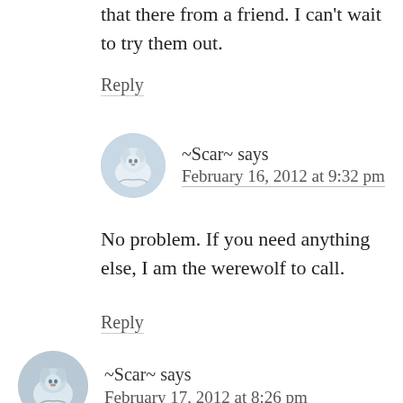that there from a friend. I can't wait to try them out.
Reply
~Scar~ says
February 16, 2012 at 9:32 pm
[Figure (photo): Circular avatar image of a white wolf in a snowy landscape]
No problem. If you need anything else, I am the werewolf to call.
Reply
[Figure (photo): Circular avatar image of a wolf in a snowy outdoor scene]
~Scar~ says
February 17, 2012 at 8:26 pm